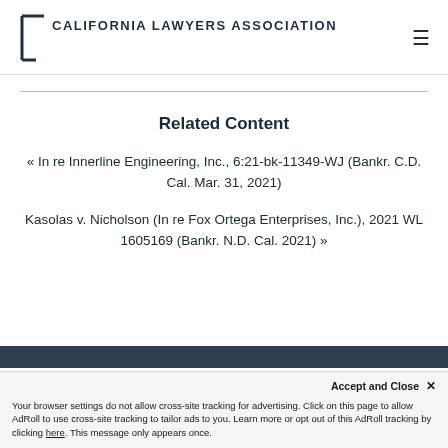CALIFORNIA LAWYERS ASSOCIATION
Related Content
« In re Innerline Engineering, Inc., 6:21-bk-11349-WJ (Bankr. C.D. Cal. Mar. 31, 2021)
Kasolas v. Nicholson (In re Fox Ortega Enterprises, Inc.), 2021 WL 1605169 (Bankr. N.D. Cal. 2021) »
Accept and Close ✕ Your browser settings do not allow cross-site tracking for advertising. Click on this page to allow AdRoll to use cross-site tracking to tailor ads to you. Learn more or opt out of this AdRoll tracking by clicking here. This message only appears once.